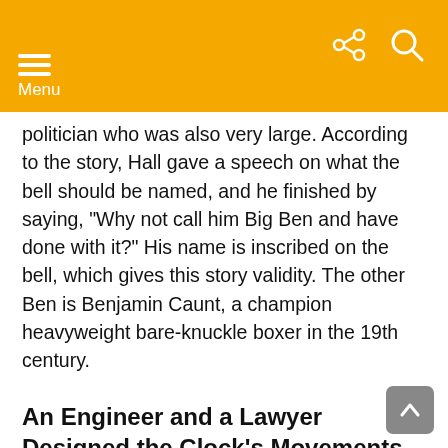Menu
politician who was also very large. According to the story, Hall gave a speech on what the bell should be named, and he finished by saying, “Why not call him Big Ben and have done with it?” His name is inscribed on the bell, which gives this story validity. The other Ben is Benjamin Caunt, a champion heavyweight bare-knuckle boxer in the 19th century.
An Engineer and a Lawyer Designed the Clock’s Movements
You would think that the English government would have had a top clockmaker create the clock. Instead, Royal Astronomer Sir George Biddell Airy came up